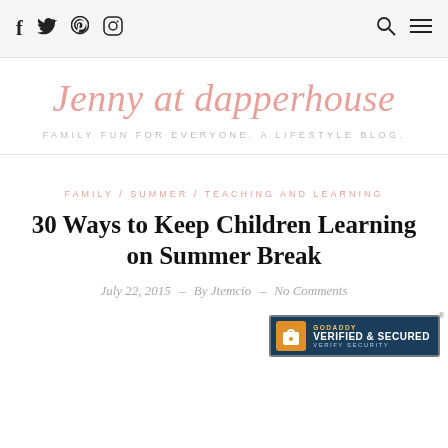f  twitter  pinterest  instagram  [search] [menu]
Jenny at dapperhouse
FAMILY FUN FOR EVERYONE. A LIFESTYLE BLOG.
FAMILY / SUMMER / TEACHING AND LEARNING
30 Ways to Keep Children Learning on Summer Break
July 22, 2015  —  By Jtemcio  —  No Comments
[Figure (logo): GoDaddy Verified & Secured badge with lock icon]